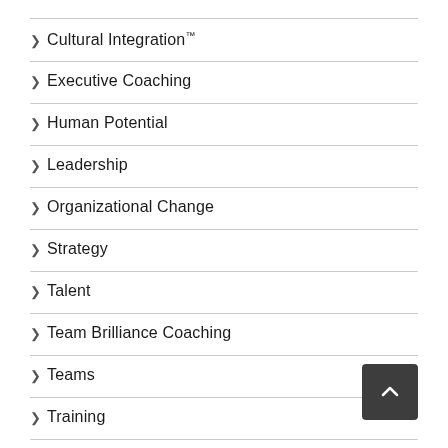Cultural Integration™
Executive Coaching
Human Potential
Leadership
Organizational Change
Strategy
Talent
Team Brilliance Coaching
Teams
Training